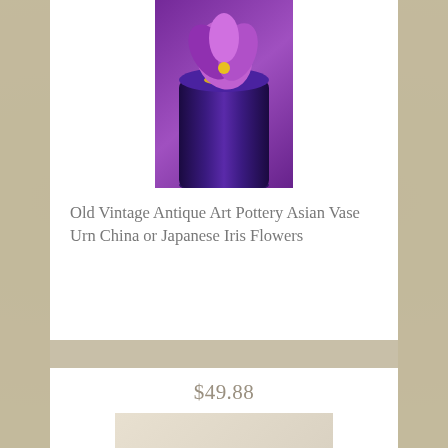[Figure (photo): Blue/purple Asian pottery vase urn with iris flower design on purple background]
Old Vintage Antique Art Pottery Asian Vase Urn China or Japanese Iris Flowers
$49.88
[Figure (photo): Vintage black cast iron roaring lion heavy statue on rectangular base]
Vintage Black Cast Iron Roaring LION Heavy Statue on Base - Bookend - Doorstop